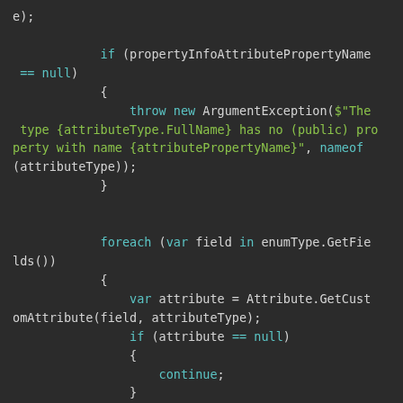[Figure (screenshot): Code editor screenshot showing C# code with syntax highlighting on dark background. Code includes an if-null check throwing ArgumentException, a foreach loop over enumType.GetFields(), getting a custom attribute, and a null check with continue.]